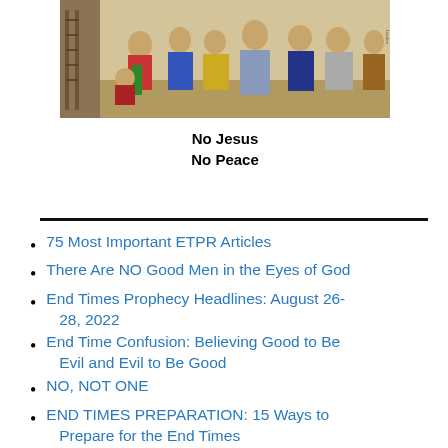[Figure (illustration): Historical religious illustration showing multiple figures in colorful robes and garments gathered together, with text 'No Jesus No Peace' below the image.]
No Jesus
No Peace
75 Most Important ETPR Articles
There Are NO Good Men in the Eyes of God
End Times Prophecy Headlines: August 26-28, 2022
End Time Confusion: Believing Good to Be Evil and Evil to Be Good
NO, NOT ONE
END TIMES PREPARATION: 15 Ways to Prepare for the End Times
JUDGMENT: The Importance of Wild Beast and...